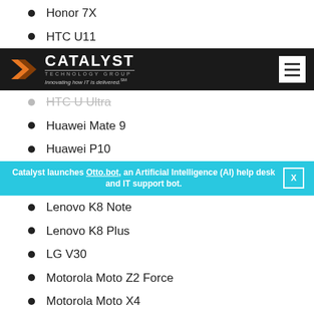Honor 7X
HTC U11
Catalyst Technology Group — Innovating how IT is delivered.
HTC U Ultra
Huawei Mate 9
Huawei P10
Catalyst launches Otto.bot, an Artificial Intelligence (AI) help desk and IT support bot.
Lenovo K8 Note
Lenovo K8 Plus
LG V30
Motorola Moto Z2 Force
Motorola Moto X4
OnePlus 5T
OnePlus 5
OnePlus 3
OnePlus 3T
Samsung Galaxy S8
Samsung Galaxy S8 Plus
Xperia X
Xperia X Compact